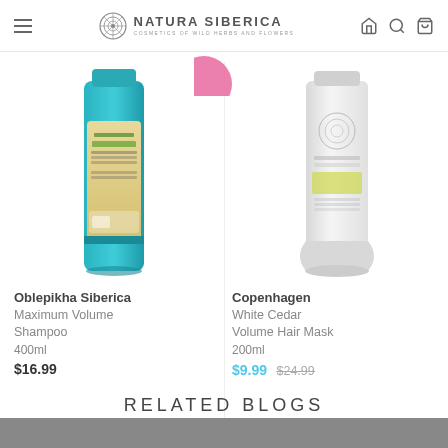Natura Siberica — Cosmetics of Wild Herbs and Flowers
[Figure (photo): Oblepikha Siberica Maximum Volume Shampoo product bottle (teal/turquoise with yellow label), 400ml]
[Figure (photo): Copenhagen White Cedar Volume Hair Mask product tube (white), 200ml]
Oblepikha Siberica
Maximum Volume Shampoo
400ml
$16.99
Copenhagen
White Cedar Volume Hair Mask
200ml
$9.99 $24.99
RELATED BLOGS
[Figure (photo): Related blogs section preview image (dark/grey background)]